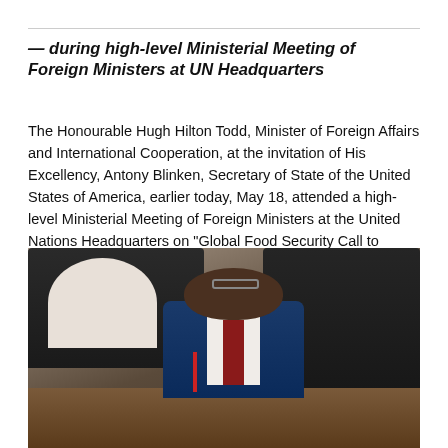— during high-level Ministerial Meeting of Foreign Ministers at UN Headquarters
The Honourable Hugh Hilton Todd, Minister of Foreign Affairs and International Cooperation, at the invitation of His Excellency, Antony Blinken, Secretary of State of the United States of America, earlier today, May 18, attended a high-level Ministerial Meeting of Foreign Ministers at the United Nations Headquarters on "Global Food Security Call to Action."
[Figure (photo): A man in a blue suit with a red tie, wearing glasses, seated at a conference table, viewed from slightly above, with dark chairs and conference room furniture in the background.]